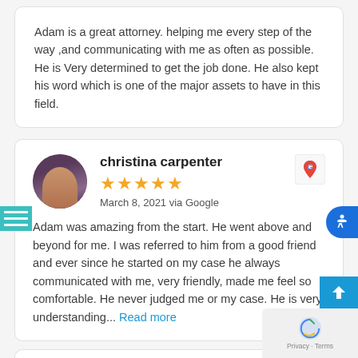Adam is a great attorney. helping me every step of the way ,and communicating with me as often as possible. He is Very determined to get the job done. He also kept his word which is one of the major assets to have in this field.
christina carpenter
March 8, 2021 via Google
Adam was amazing from the start. He went above and beyond for me. I was referred to him from a good friend and ever since he started on my case he always communicated with me, very friendly, made me feel so comfortable. He never judged me or my case. He is very understanding... Read more